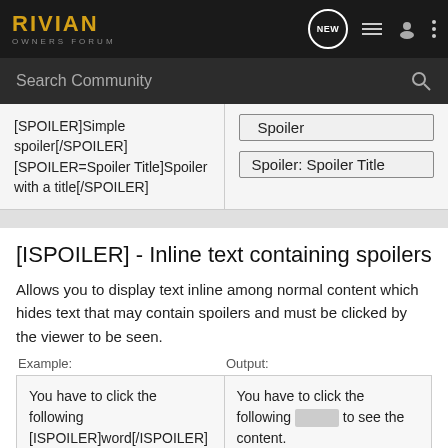RIVIAN OWNERS FORUM
| Example: | Output: |
| --- | --- |
| [SPOILER]Simple spoiler[/SPOILER]
[SPOILER=Spoiler Title]Spoiler with a title[/SPOILER] | Spoiler | Spoiler: Spoiler Title |
[ISPOILER] - Inline text containing spoilers
Allows you to display text inline among normal content which hides text that may contain spoilers and must be clicked by the viewer to be seen.
| Example: | Output: |
| --- | --- |
| You have to click the following [ISPOILER]word[/ISPOILER] to see the content. | You have to click the following [word] to see the content. |